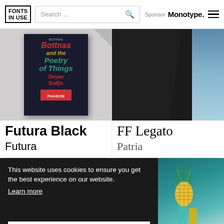FONTS IN USE | Search... | Sponsor Monotype.
[Figure (photo): Book cover for 'Bottnas and the Poetry of Things' by Deyan Sudjic, published by Phaidon, displayed against a grey background with a corner fold]
[Figure (photo): Rotated street sign reading 'ruge des Wals' against a dark background with blue sky]
Futura Black
FF Legato
Futura
Patria
This website uses cookies to ensure you get the best experience on our website.
Learn more
Got it!
[Figure (photo): Photo of cocktails with pineapple garnish on a teal/turquoise background]